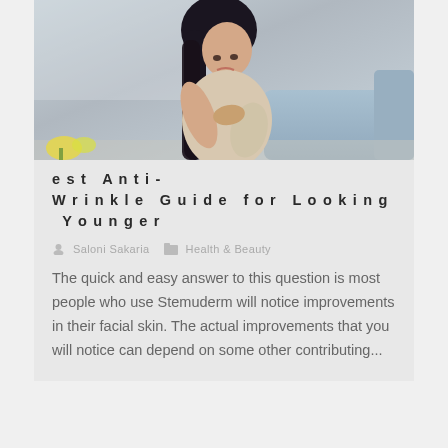[Figure (photo): Partial view of a person's upper body, skin tone warm, appears to be touching face/neck area, light background]
Stemuderm Review – The Best Anti-Wrinkle Guide for Looking Younger
Saloni Sakaria   Health & Beauty
The quick and easy answer to this question is most people who use Stemuderm will notice improvements in their facial skin. The actual improvements that you will notice can depend on some other contributing...
[Figure (photo): Woman with long dark hair hunched over, holding her chest/arm area with a pained or distressed expression, seated near a blue couch, flowers visible in background]